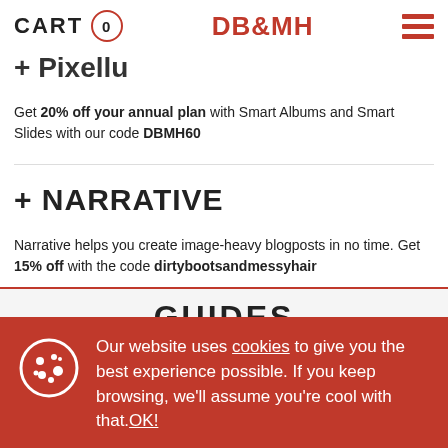CART 0 | DB&MH | (menu)
+ Pixellu
Get 20% off your annual plan with Smart Albums and Smart Slides with our code DBMH60
+ NARRATIVE
Narrative helps you create image-heavy blogposts in no time. Get 15% off with the code dirtybootsandmessyhair
GUIDES
Our website uses cookies to give you the best experience possible. If you keep browsing, we'll assume you're cool with that. OK!